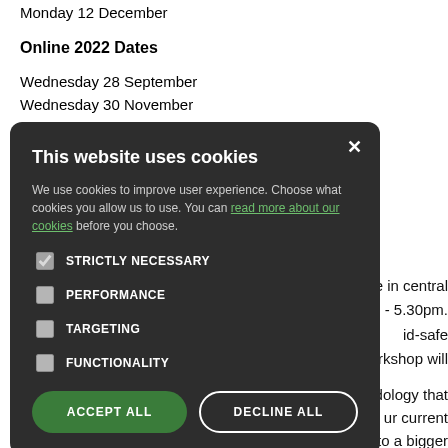Monday 12 December
Online 2022 Dates
Wednesday 28 September
Wednesday 30 November
[Figure (screenshot): Cookie consent modal dialog with dark background. Title: 'This website uses cookies'. Body text: 'We use cookies to improve user experience. Choose what cookies you allow us to use. You can read more about our cookies before you choose.' Checkboxes: STRICTLY NECESSARY (checked), PERFORMANCE, TARGETING, FUNCTIONALITY. Buttons: ACCEPT ALL (green), DECLINE ALL (outline).]
e in central
9am - 5.30pm.
id-safe
workshop will
dology that
eur current
arts to a bigger
nd our ancestors using the constellation method, we have an